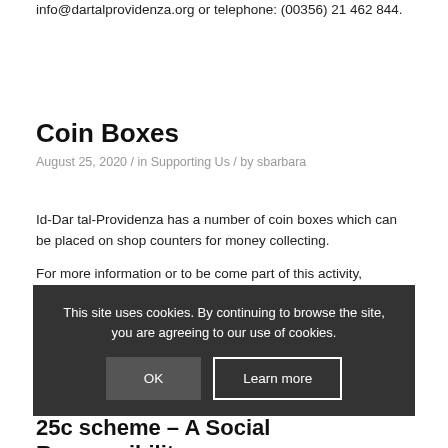info@dartalprovidenza.org or telephone: (00356) 21 462 844.
Coin Boxes
August 25, 2020 / in Supporting Us / by sbarbara
Id-Dar tal-Providenza has a number of coin boxes which can be placed on shop counters for money collecting.
For more information or to be come part of this activity, shop owners or other entities can call us on 21462844 or 214 on info@...
This site uses cookies. By continuing to browse the site, you are agreeing to our use of cookies.
OK
Learn more
25c scheme – A Social Responsibility